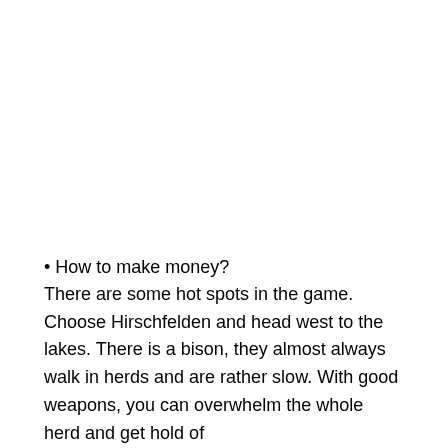• How to make money?
There are some hot spots in the game. Choose Hirschfelden and head west to the lakes. There is a bison, they almost always walk in herds and are rather slow. With good weapons, you can overwhelm the whole herd and get hold of